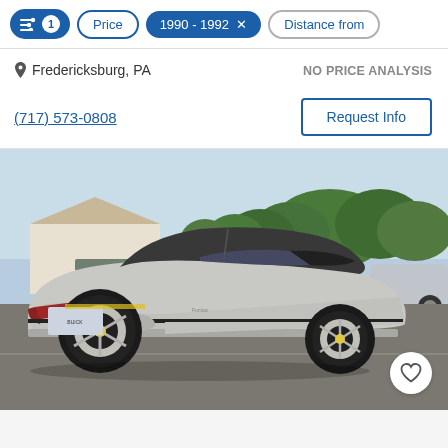Filters: 1 active | Price | 1990 - 1992 × | Distance from
Fredericksburg, PA
NO PRICE ANALYSIS
(717) 573-0808
Request Info
[Figure (photo): Silver Buick Reatta coupe photographed from the rear three-quarter angle in a parking lot, sunny day, trees and a building visible in background, another car parked nearby on the right.]